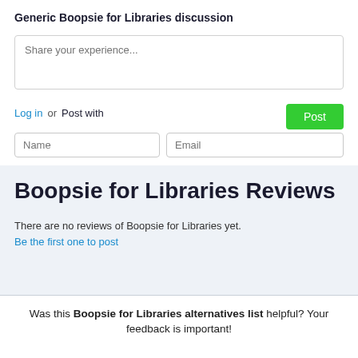Generic Boopsie for Libraries discussion
[Figure (screenshot): Text area input box with placeholder text 'Share your experience...']
Log in or Post with
[Figure (screenshot): Name and Email input fields with a green Post button]
Boopsie for Libraries Reviews
There are no reviews of Boopsie for Libraries yet.
Be the first one to post
Was this Boopsie for Libraries alternatives list helpful? Your feedback is important!